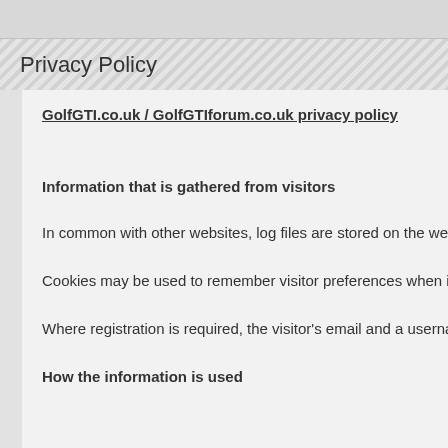Privacy Policy
GolfGTI.co.uk / GolfGTIforum.co.uk privacy policy
Information that is gathered from visitors
In common with other websites, log files are stored on the web server sav
Cookies may be used to remember visitor preferences when interacting w
Where registration is required, the visitor's email and a username will be s
How the information is used
The information is used to enhance the vistor's experience when using the
Email addresses will not be sold, rented or leased to third parties. Email m
Visitor options
If you have subscribed to one of our services, you may unsubscribe by fo